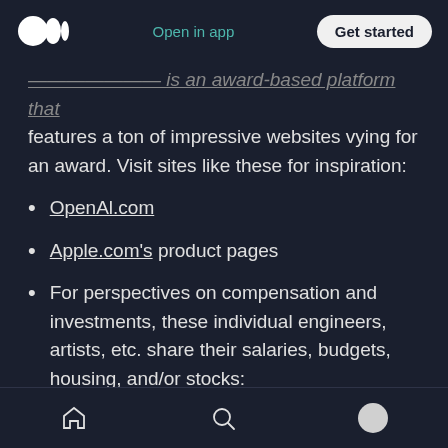Medium app header with logo, Open in app, Get started button
[truncated/faded text] is an award-based platform that features a ton of impressive websites vying for an award. Visit sites like these for inspiration:
OpenAl.com
Apple.com's product pages
For perspectives on compensation and investments, these individual engineers, artists, etc. share their salaries, budgets, housing, and/or stocks:
Bukola Ayodele (partially visible, cut off)
Bottom navigation bar with home, search, and profile icons